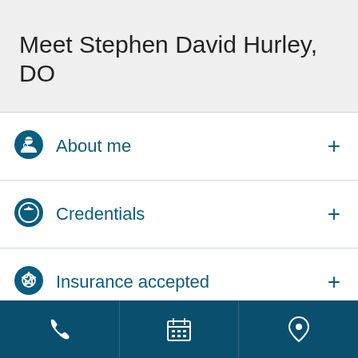Meet Stephen David Hurley, DO
About me
Credentials
Insurance accepted
More for your health